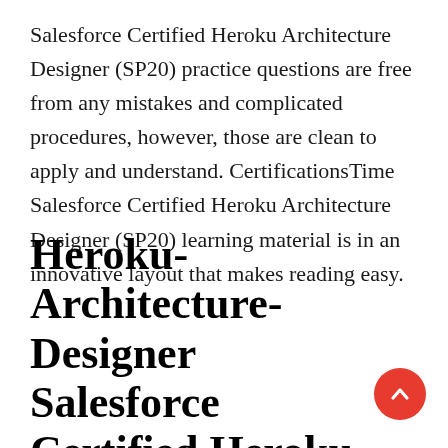Salesforce Certified Heroku Architecture Designer (SP20) practice questions are free from any mistakes and complicated procedures, however, those are clean to apply and understand. CertificationsTime Salesforce Certified Heroku Architecture Designer (SP20) learning material is in an innovative layout that makes reading easy.
Heroku-Architecture-Designer Salesforce Certified Heroku Architecture Designer